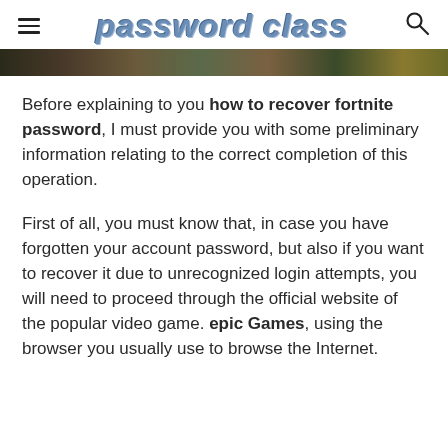password class
[Figure (photo): Partial banner/hero image strip showing a game scene, cropped at top]
Before explaining to you how to recover fortnite password, I must provide you with some preliminary information relating to the correct completion of this operation.
First of all, you must know that, in case you have forgotten your account password, but also if you want to recover it due to unrecognized login attempts, you will need to proceed through the official website of the popular video game. epic Games, using the browser you usually use to browse the Internet.